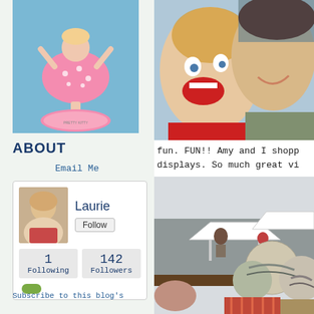[Figure (photo): Book cover showing a girl in a pink polka dot dress, balancing on a large shoe]
ABOUT
Email Me
[Figure (infographic): Blogger profile widget for Laurie showing Follow button, 1 Following, 142 Followers, and a green pill icon]
Subscribe to this blog's
[Figure (photo): Two women smiling and laughing closely together at what appears to be an outdoor market]
fun. FUN!! Amy and I shopp
displays. So much great vi
[Figure (photo): Outdoor flea market scene with colorful round textile balls/cushions on a brown table, white tents in background]